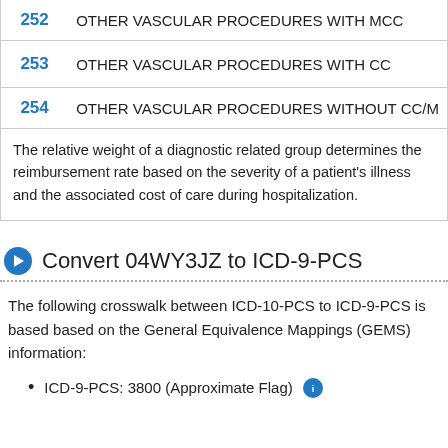| DRG | Description |
| --- | --- |
| 252 | OTHER VASCULAR PROCEDURES WITH MCC |
| 253 | OTHER VASCULAR PROCEDURES WITH CC |
| 254 | OTHER VASCULAR PROCEDURES WITHOUT CC/MCC |
The relative weight of a diagnostic related group determines the reimbursement rate based on the severity of a patient's illness and the associated cost of care during hospitalization.
Convert 04WY3JZ to ICD-9-PCS
The following crosswalk between ICD-10-PCS to ICD-9-PCS is based based on the General Equivalence Mappings (GEMS) information:
ICD-9-PCS: 3800 (Approximate Flag)